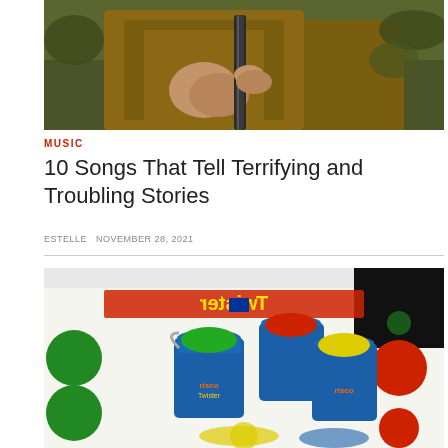[Figure (photo): Close-up of a person in a brown jacket holding a rifle or shotgun, outdoors with green vegetation in the background.]
MUSIC
10 Songs That Tell Terrifying and Troubling Stories
ESTELLE NOVEMBER 28, 2021
[Figure (photo): Twister game mat laid on a surface with several blue paint cans containing colored paints (green, red, yellow) placed on top. The mat shows colored circles (green, red) and the Twister logo visible in the background.]